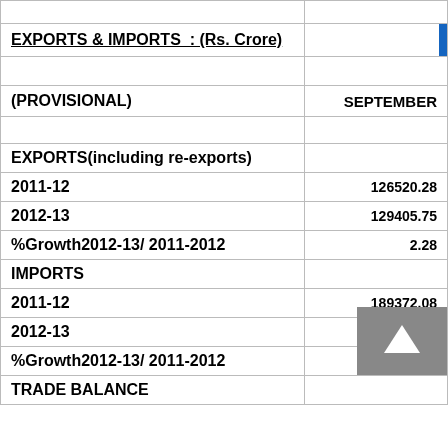| (PROVISIONAL) | SEPTEMBER |
| --- | --- |
| EXPORTS(including re-exports) |  |
| 2011-12 | 126520.28 |
| 2012-13 | 129405.75 |
| %Growth2012-13/ 2011-2012 | 2.28 |
| IMPORTS |  |
| 2011-12 | 189372.08 |
| 2012-13 | 228134.59 |
| %Growth2012-13/ 2011-2012 | 20.47 |
| TRADE BALANCE |  |